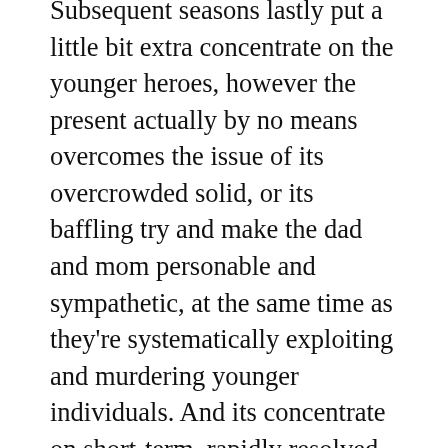Subsequent seasons lastly put a little bit extra concentrate on the younger heroes, however the present actually by no means overcomes the issue of its overcrowded solid, or its baffling try and make the dad and mom personable and sympathetic, at the same time as they're systematically exploiting and murdering younger individuals. And its concentrate on short-term, rapidly resolved subplots, like a trying-to-be-current plot about thoughts management unfold by way of cell telephones, prevented the present from build up collection stakes or significant vitality.
[Figure (other): Infolinks ad bar with partially visible text and M·A·C cosmetics advertisement banner showing lipsticks in purple, pink, and red colors with M·A·C logo and SHOP NOW button]